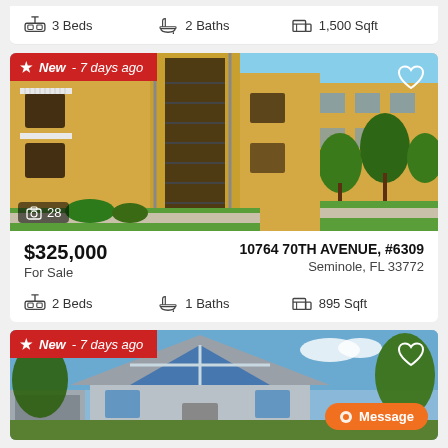3 Beds  2 Baths  1,500 Sqft
[Figure (photo): Apartment building with yellow stucco exterior, staircases, balconies, and trees. Badge: New - 7 days ago. Photo count: 28.]
$325,000 For Sale  |  10764 70TH AVENUE, #6309  Seminole, FL 33772
2 Beds  1 Baths  895 Sqft
[Figure (photo): House with A-frame roof, large blue windows, gray siding, trees. Badge: New - 7 days ago. Message button.]